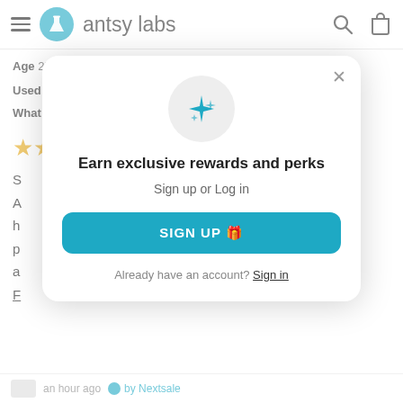antsy labs
Age 25 - 34 | Gender Female | Bought For Myself
Used At Home, Class, Work
What I Love High Quality, Everyday Carry
[Figure (other): 5 gold stars rating]
[Figure (screenshot): Modal popup: Earn exclusive rewards and perks. Sign up or Log in. SIGN UP button. Already have an account? Sign in.]
an hour ago  by Nextsale